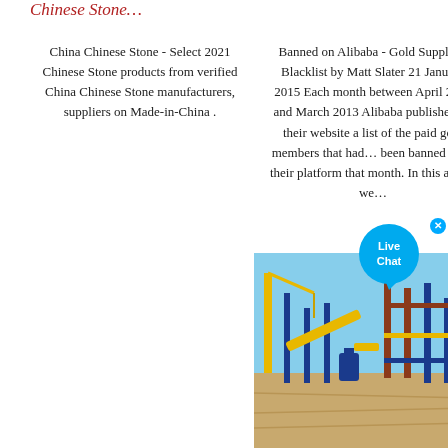Chinese Stone…
China Chinese Stone - Select 2021 Chinese Stone products from verified China Chinese Stone manufacturers, suppliers on Made-in-China .
Banned on Alibaba - Gold Suppliers Blacklist by Matt Slater 21 January 2015 Each month between April 2010 and March 2013 Alibaba published on their website a list of the paid gold members that had… been banned from their platform that month. In this article we…
[Figure (photo): Industrial construction site with cranes, conveyor belts, and steel structures (blue and yellow) on sandy ground under a clear blue sky.]